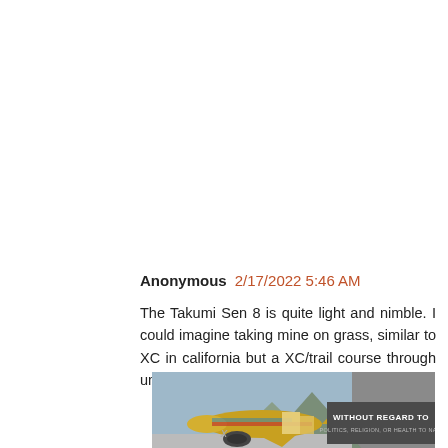Anonymous  2/17/2022 5:46 AM
The Takumi Sen 8 is quite light and nimble. I could imagine taking mine on grass, similar to XC in california but a XC/trail course through uneven terrain or mud is a stretch.
[Figure (photo): Advertisement banner showing a cargo airplane being loaded, with text overlay reading WITHOUT REGARD TO POLITICS, RELIGION, OR HEALTH TO NAS.]